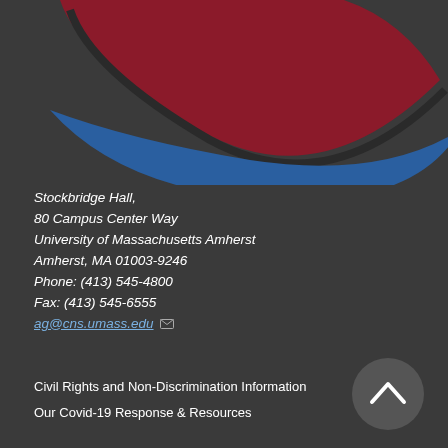[Figure (logo): UMass CNS logo — partial view showing green leaf, dark red/maroon arc, and blue swoosh on dark background]
Stockbridge Hall,
80 Campus Center Way
University of Massachusetts Amherst
Amherst, MA 01003-9246
Phone: (413) 545-4800
Fax: (413) 545-6555
ag@cns.umass.edu
Civil Rights and Non-Discrimination Information
Our Covid-19 Response & Resources